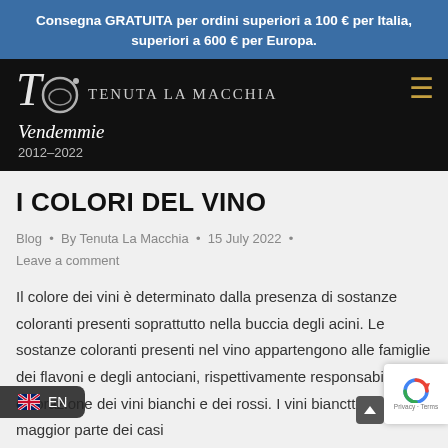Consegna GRATUITA per ordini superiori a 100 € per Italia, superiori a 600 € per Europa.
[Figure (logo): Tenuta La Macchia logo with script mark, name in uppercase serif, and 'Vendemmie 2012-2022' tagline on black background. Hamburger menu icon on right.]
I COLORI DEL VINO
Blog • By Tenuta La Macchia • 15 July 2022 • Leave a comment
Il colore dei vini è determinato dalla presenza di sostanze coloranti presenti soprattutto nella buccia degli acini. Le sostanze coloranti presenti nel vino appartengono alle famiglie dei flavoni e degli antociani, rispettivamente responsabili della colorazione dei vini bianchi e dei rossi. I vini bianc... ttenuti nella maggior parte dei casi ... uve a bacca